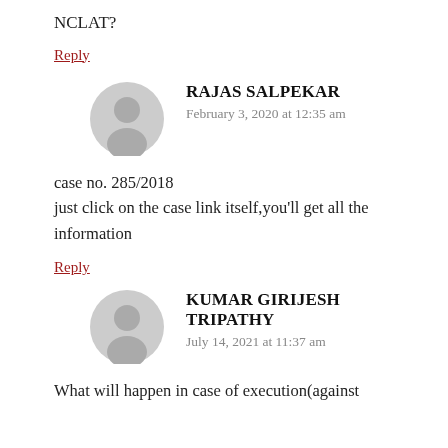NCLAT?
Reply
RAJAS SALPEKAR
February 3, 2020 at 12:35 am
case no. 285/2018
just click on the case link itself,you'll get all the information
Reply
KUMAR GIRIJESH TRIPATHY
July 14, 2021 at 11:37 am
What will happen in case of execution(against